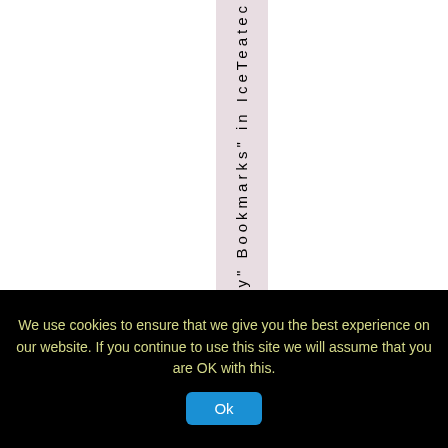y" Bookmarks" in IceTeatec
We use cookies to ensure that we give you the best experience on our website. If you continue to use this site we will assume that you are OK with this.